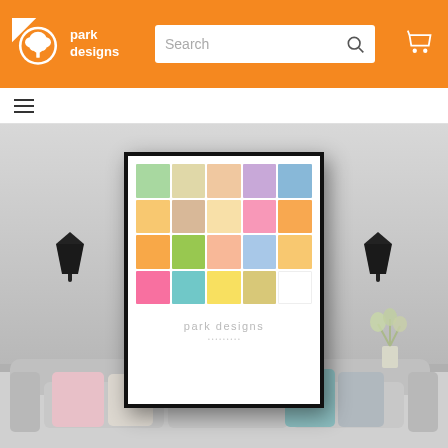park designs — website header with logo, search bar, and cart icon
[Figure (screenshot): Park Designs website screenshot showing orange header with logo, search bar, hamburger navigation menu, and a room scene photo with a framed color swatch poster hanging on a gray wall flanked by two black wall sconces, with a sofa and decorative pillows in the foreground and a plant to the right.]